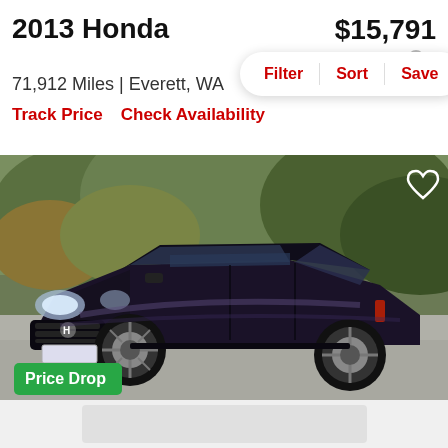2013 Honda
$15,791
est. $228/mo
71,912 Miles | Everett, WA
Track Price    Check Availability
[Figure (photo): Black 2013 Honda Fit parked outdoors, front three-quarter view, with autumn foliage in background. Green 'Price Drop' badge in lower left. Heart icon in upper right.]